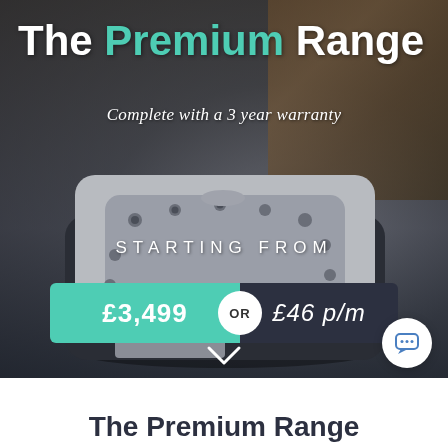[Figure (photo): Hot tub / spa product photo with dark semi-transparent overlay, showing a large grey hot tub in an outdoor garden setting with wooden fence in background]
The Premium Range
Complete with a 3 year warranty
Starting from
£3,499 OR £46 p/m
The Premium Range